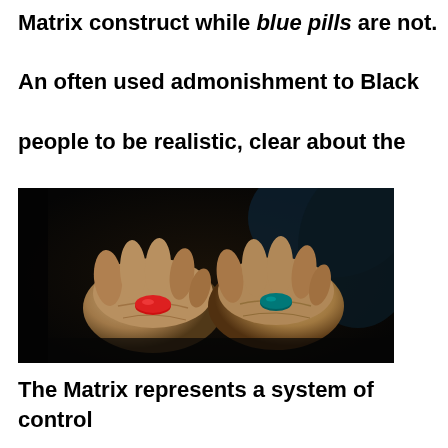Matrix construct while blue pills are not. An often used admonishment to Black people to be realistic, clear about the political nuances of our citizenship.
[Figure (photo): Two hands open, one holding a red pill and the other a blue pill, from a scene resembling The Matrix movie.]
The Matrix represents a system of control that operates completely in the mind. As